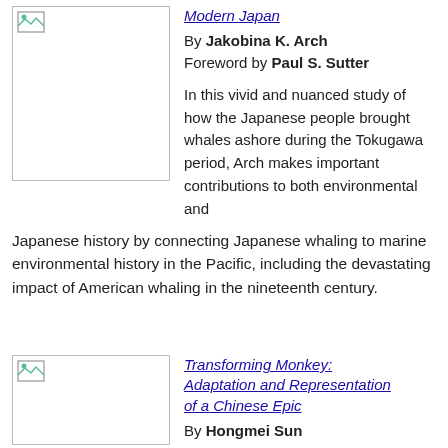[Figure (illustration): Book cover placeholder image for first book, with small image icon in top-left corner]
Modern Japan
By Jakobina K. Arch
Foreword by Paul S. Sutter
In this vivid and nuanced study of how the Japanese people brought whales ashore during the Tokugawa period, Arch makes important contributions to both environmental and Japanese history by connecting Japanese whaling to marine environmental history in the Pacific, including the devastating impact of American whaling in the nineteenth century.
[Figure (illustration): Book cover placeholder image for second book, with small image icon in top-left corner]
Transforming Monkey: Adaptation and Representation of a Chinese Epic
By Hongmei Sun